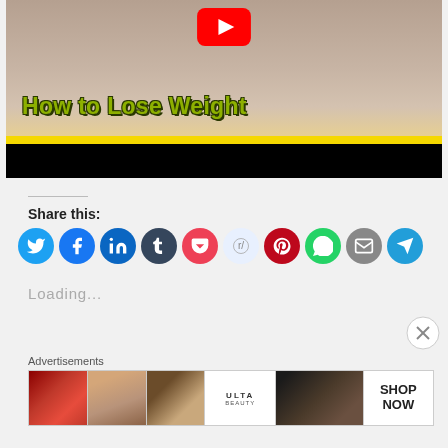[Figure (screenshot): YouTube video thumbnail showing 'How to Lose Weight' with people walking in background, YouTube play button at top, yellow bar and black bar at bottom]
Share this:
[Figure (infographic): Row of social media sharing icon buttons: Twitter, Facebook, LinkedIn, Tumblr, Pocket, Reddit, Pinterest, WhatsApp, Email, Telegram]
Loading...
Advertisements
[Figure (photo): Ulta Beauty advertisement banner with makeup/cosmetic imagery including lips, brush, eyes, Ulta logo, and Shop Now text]